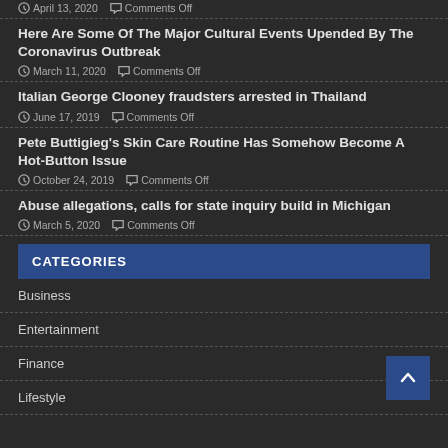April 13, 2020   Comments Off
Here Are Some Of The Major Cultural Events Upended By The Coronavirus Outbreak
March 11, 2020   Comments Off
Italian George Clooney fraudsters arrested in Thailand
June 17, 2019   Comments Off
Pete Buttigieg's Skin Care Routine Has Somehow Become A Hot-Button Issue
October 24, 2019   Comments Off
Abuse allegations, calls for state inquiry build in Michigan
March 5, 2020   Comments Off
CATEGORIES
Business
Entertainment
Finance
Lifestyle